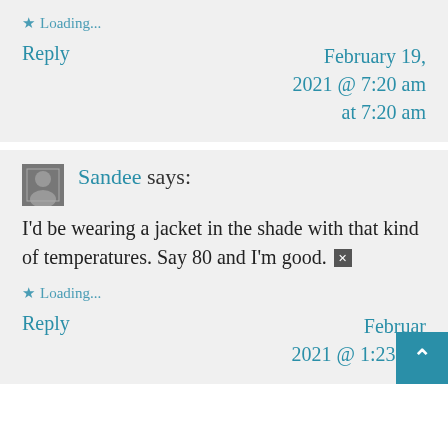★ Loading...
Reply   February 19, 2021 @ 7:20 am at 7:20 am
Sandee says:
I'd be wearing a jacket in the shade with that kind of temperatures. Say 80 and I'm good. [emoji]
★ Loading...
Reply   February 2021 @ 1:23 pm